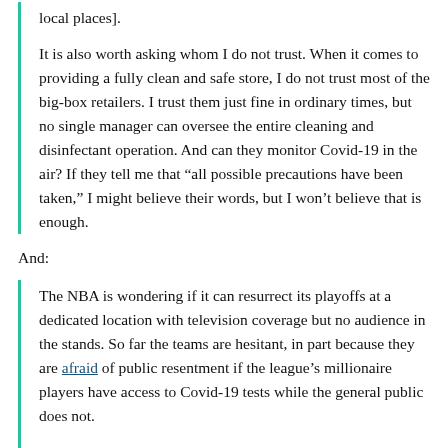local places].
It is also worth asking whom I do not trust. When it comes to providing a fully clean and safe store, I do not trust most of the big-box retailers. I trust them just fine in ordinary times, but no single manager can oversee the entire cleaning and disinfectant operation. And can they monitor Covid-19 in the air? If they tell me that “all possible precautions have been taken,” I might believe their words, but I won’t believe that is enough.
And:
The NBA is wondering if it can resurrect its playoffs at a dedicated location with television coverage but no audience in the stands. So far the teams are hesitant, in part because they are afraid of public resentment if the league’s millionaire players have access to Covid-19 tests while the general public does not.
The reality is that if the NBA announced it was buying up a lot of tests, it would boost the supply of tests. That could